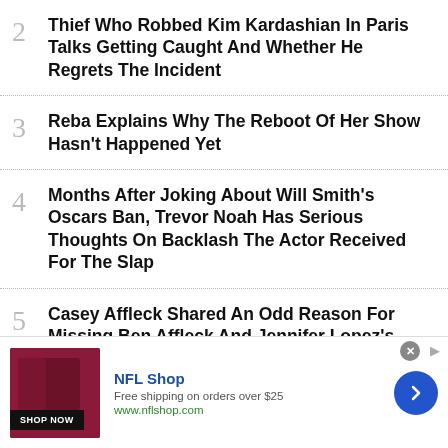2  Thief Who Robbed Kim Kardashian In Paris Talks Getting Caught And Whether He Regrets The Incident
3  Reba Explains Why The Reboot Of Her Show Hasn't Happened Yet
4  Months After Joking About Will Smith's Oscars Ban, Trevor Noah Has Serious Thoughts On Backlash The Actor Received For The Slap
5  Casey Affleck Shared An Odd Reason For Missing Ben Affleck And Jennifer Lopez's Wedding Celebration
[Figure (other): NFL Shop advertisement banner with red jersey image, Shop Now button, and arrow navigation button. Text: NFL Shop, Free shipping on orders over $25, www.nflshop.com]